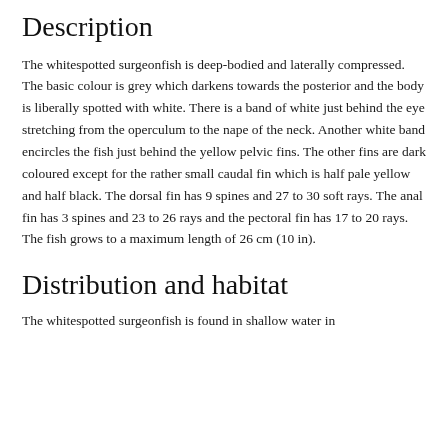Description
The whitespotted surgeonfish is deep-bodied and laterally compressed. The basic colour is grey which darkens towards the posterior and the body is liberally spotted with white. There is a band of white just behind the eye stretching from the operculum to the nape of the neck. Another white band encircles the fish just behind the yellow pelvic fins. The other fins are dark coloured except for the rather small caudal fin which is half pale yellow and half black. The dorsal fin has 9 spines and 27 to 30 soft rays. The anal fin has 3 spines and 23 to 26 rays and the pectoral fin has 17 to 20 rays. The fish grows to a maximum length of 26 cm (10 in).
Distribution and habitat
The whitespotted surgeonfish is found in shallow water in